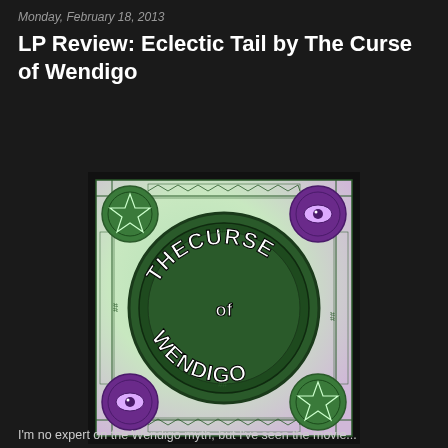Monday, February 18, 2013
LP Review: Eclectic Tail by The Curse of Wendigo
[Figure (illustration): Album cover art for 'The Curse of Wendigo' – Eclectic Tail. Square image with a pastel green and purple watercolor background. Central large circular emblem in dark green contains stylized psychedelic lettering reading 'THE CURSE of WENDIGO' in white outlined letters. The border features intricate geometric/tribal patterns. Four corner circular emblems: top-left and bottom-right show a figure with a star/cross symbol on dark green; top-right and bottom-left show an eye symbol in purple. Overall 70s psychedelic aesthetic with dark border frame.]
I'm no expert on the Wendigo myth, but I've seen the movie...